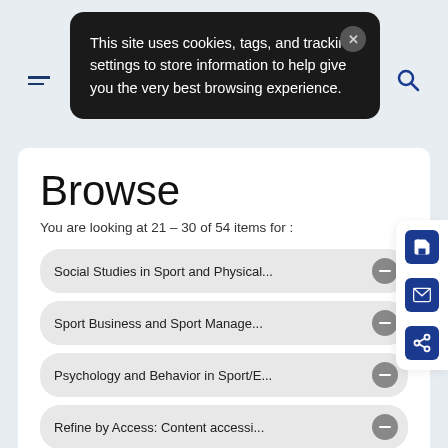[Figure (screenshot): Cookie consent popup with dark background reading: This site uses cookies, tags, and tracking settings to store information to help give you the very best browsing experience. With a close (X) button in upper right.]
Browse
You are looking at 21 – 30 of 54 items for :
Social Studies in Sport and Physical...
Sport Business and Sport Manage...
Psychology and Behavior in Sport/E...
Refine by Access: Content accessi...
Clear All